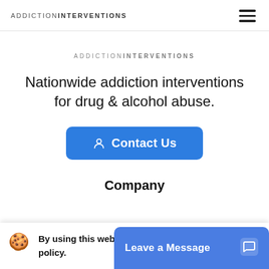ADDICTION INTERVENTIONS
ADDICTION INTERVENTIONS
Nationwide addiction interventions for drug & alcohol abuse.
Contact Us
Company
By using this website, you agree to our cookie policy.
Leave a Message